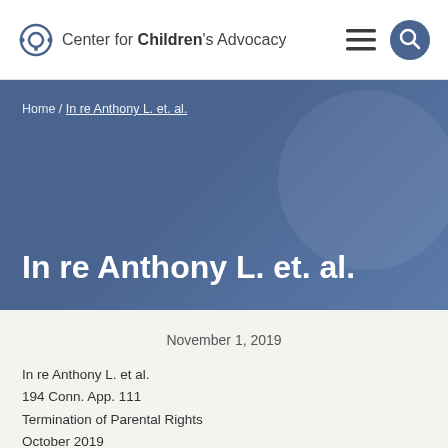Center for Children's Advocacy
Home / In re Anthony L. et. al.
In re Anthony L. et. al.
November 1, 2019
In re Anthony L. et al.
194 Conn. App. 111
Termination of Parental Rights
October 2019
Mother appealed the trial court's judgment terminating her